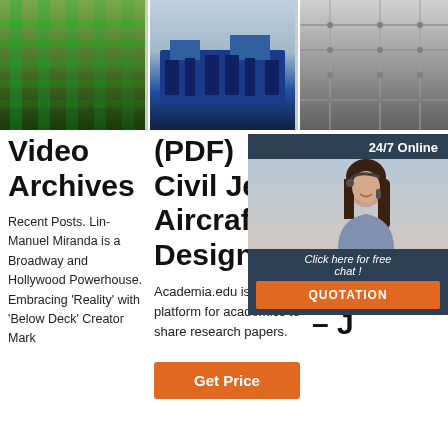[Figure (photo): Industrial green conveyor/pipeline facility]
[Figure (photo): Blue industrial machine equipment]
[Figure (photo): Metal panels or aircraft structure details]
Video Archives
Recent Posts. Lin-Manuel Miranda is a Broadway and Hollywood Powerhouse. Embracing 'Reality' with 'Below Deck' Creator Mark
(PDF) Civil Jet Aircraft Design
Academia.edu is a platform for academics to share research papers.
[Figure (other): Get Price orange button]
Lis Re Co an Bu - J
[Figure (infographic): 24/7 Online chat popup with woman customer service representative, Click here for free chat!, QUOTATION button]
2021-10-19u2002·u2002Dec provides industry professionals